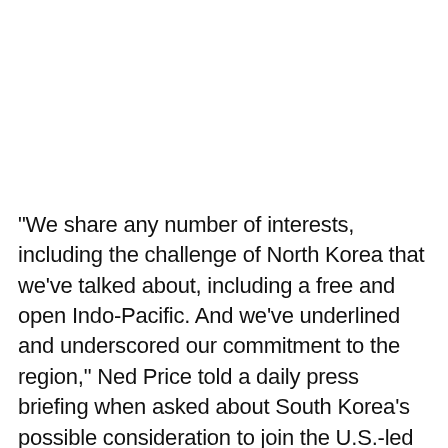"We share any number of interests, including the challenge of North Korea that we've talked about, including a free and open Indo-Pacific. And we've underlined and underscored our commitment to the region," Ned Price told a daily press briefing when asked about South Korea's possible consideration to join the U.S.-led regional forum known as the Quad.
His remarks came as U.S. President Joe Biden is set to hold a summit with his Quad counterparts.